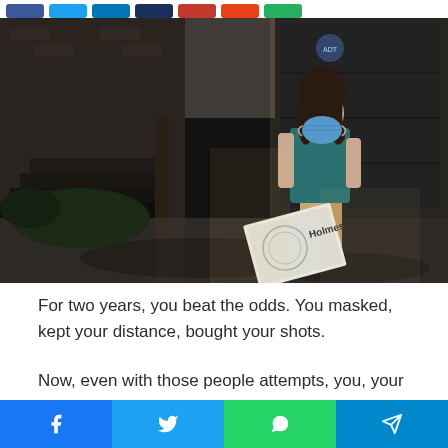Share buttons: Facebook, Twitter, LinkedIn, Other, Pinterest, Reddit, WhatsApp
[Figure (photo): A person wearing a blue face mask and teal shirt carrying a Holmes fan box, walking in front of a dark brick building with garage doors. The scene is outdoors with dappled sunlight.]
For two years, you beat the odds. You masked, kept your distance, bought your shots.
Now, even with those people attempts, you, your boy or girl, or
Social share bar: Facebook, Twitter, WhatsApp, Telegram